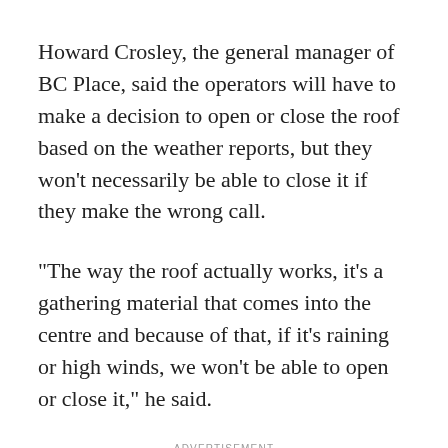Howard Crosley, the general manager of BC Place, said the operators will have to make a decision to open or close the roof based on the weather reports, but they won't necessarily be able to close it if they make the wrong call.
"The way the roof actually works, it's a gathering material that comes into the centre and because of that, if it's raining or high winds, we won't be able to open or close it," he said.
ADVERTISEMENT
When it is finished, the roof will be the largest cable-supported retractable roof in the world and will take about 20 minutes to open and close, according to officials. But fans will stay dry no matter what because